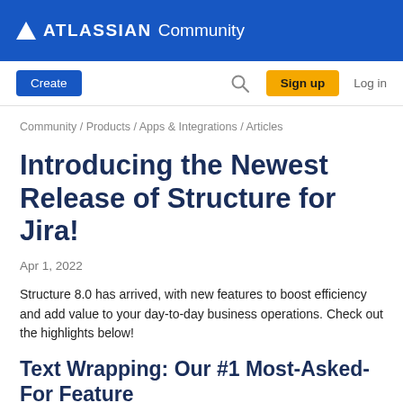ATLASSIAN Community
Create | Search | Sign up | Log in
Community / Products / Apps & Integrations / Articles
Introducing the Newest Release of Structure for Jira!
Apr 1, 2022
Structure 8.0 has arrived, with new features to boost efficiency and add value to your day-to-day business operations. Check out the highlights below!
Text Wrapping: Our #1 Most-Asked-For Feature